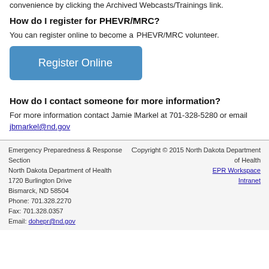convenience by clicking the Archived Webcasts/Trainings link.
How do I register for PHEVR/MRC?
You can register online to become a PHEVR/MRC volunteer.
[Figure (other): Blue 'Register Online' button]
How do I contact someone for more information?
For more information contact Jamie Markel at 701-328-5280 or email jbmarkel@nd.gov
Emergency Preparedness & Response Section
North Dakota Department of Health
1720 Burlington Drive
Bismarck, ND 58504
Phone: 701.328.2270
Fax: 701.328.0357
Email: dohepr@nd.gov
Copyright © 2015 North Dakota Department of Health
EPR Workspace
Intranet